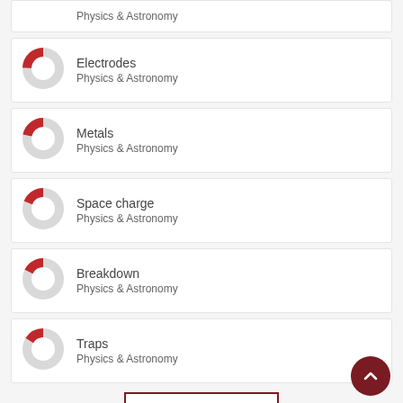Physics & Astronomy
Electrodes
Physics & Astronomy
Metals
Physics & Astronomy
Space charge
Physics & Astronomy
Breakdown
Physics & Astronomy
Traps
Physics & Astronomy
View full fingerprint >